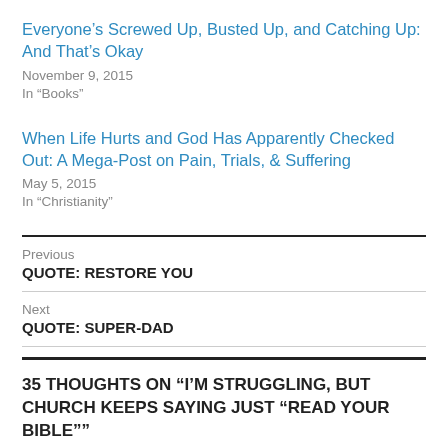Everyone’s Screwed Up, Busted Up, and Catching Up: And That’s Okay
November 9, 2015
In “Books”
When Life Hurts and God Has Apparently Checked Out: A Mega-Post on Pain, Trials, & Suffering
May 5, 2015
In “Christianity”
Previous
QUOTE: RESTORE YOU
Next
QUOTE: SUPER-DAD
35 THOUGHTS ON “I’M STRUGGLING, BUT CHURCH KEEPS SAYING JUST “READ YOUR BIBLE””